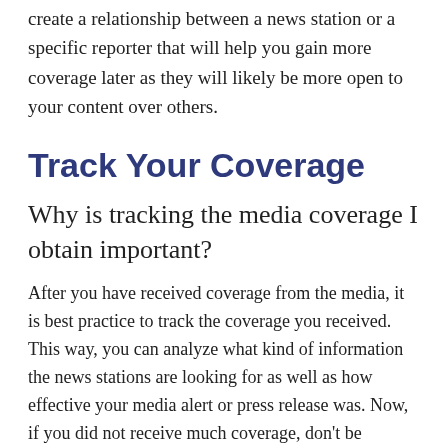create a relationship between a news station or a specific reporter that will help you gain more coverage later as they will likely be more open to your content over others.
Track Your Coverage
Why is tracking the media coverage I obtain important?
After you have received coverage from the media, it is best practice to track the coverage you received. This way, you can analyze what kind of information the news stations are looking for as well as how effective your media alert or press release was. Now, if you did not receive much coverage, don't be frustrated.